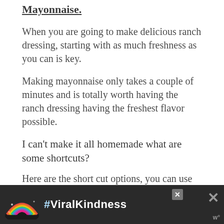Mayonnaise.
When you are going to make delicious ranch dressing, starting with as much freshness as you can is key.
Making mayonnaise only takes a couple of minutes and is totally worth having the ranch dressing having the freshest flavor possible.
I can't make it all homemade what are some shortcuts?
Here are the short cut options, you can use
[Figure (other): Advertisement banner with rainbow illustration and #ViralKindness text on dark background, with close buttons and a logo watermark.]